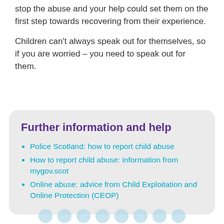stop the abuse and your help could set them on the first step towards recovering from their experience.
Children can't always speak out for themselves, so if you are worried – you need to speak out for them.
Further information and help
Police Scotland: how to report child abuse
How to report child abuse: information from mygov.scot
Online abuse: advice from Child Exploitation and Online Protection (CEOP)